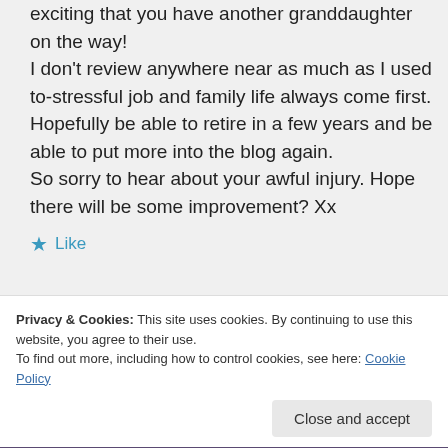exciting that you have another granddaughter on the way! I don't review anywhere near as much as I used to-stressful job and family life always come first. Hopefully be able to retire in a few years and be able to put more into the blog again. So sorry to hear about your awful injury. Hope there will be some improvement? Xx
★ Like
Privacy & Cookies: This site uses cookies. By continuing to use this website, you agree to their use. To find out more, including how to control cookies, see here: Cookie Policy
Close and accept
What I have been reading/thinking